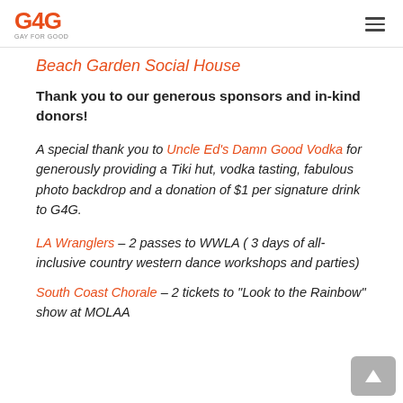G4G — Gay for Good
Beach Garden Social House
Thank you to our generous sponsors and in-kind donors!
A special thank you to Uncle Ed's Damn Good Vodka for generously providing a Tiki hut, vodka tasting, fabulous photo backdrop and a donation of $1 per signature drink to G4G.
LA Wranglers – 2 passes to WWLA ( 3 days of all-inclusive country western dance workshops and parties)
South Coast Chorale – 2 tickets to "Look to the Rainbow" show at MOLAA